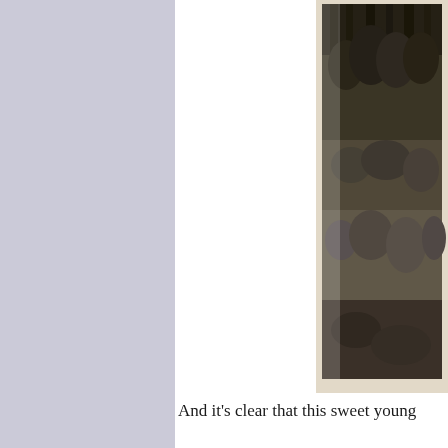[Figure (photo): A partial view of a vintage sepia-toned photograph showing a wooded scene with tall trees and dense undergrowth/grass, set against a textured light paper/card border. The photo is cropped at the right edge of the page.]
And it's clear that this sweet young